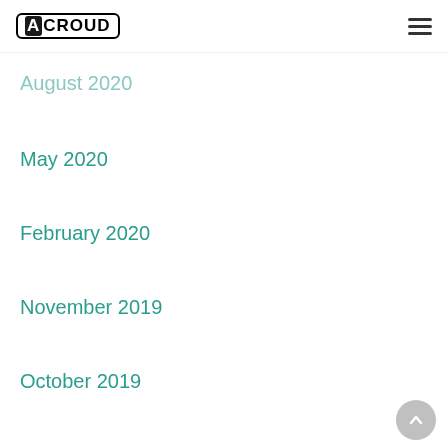ACROUD (logo) with hamburger menu
November 2020
August 2020
May 2020
February 2020
November 2019
October 2019
August 2019
July 2019
June 2019
May 2019
April 2019
February 2019
January 2019
December 2018